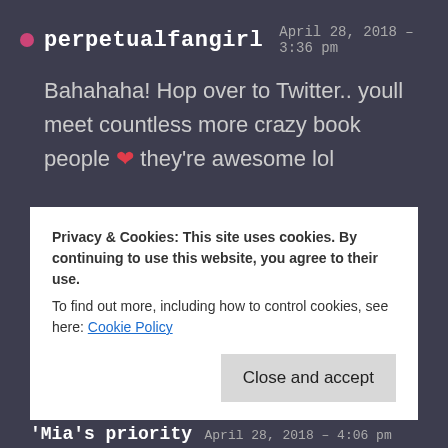perpetualfangirl  April 28, 2018 – 3:36 pm
Bahahaha! Hop over to Twitter.. youll meet countless more crazy book people ❤ they're awesome lol
★ Like
Privacy & Cookies: This site uses cookies. By continuing to use this website, you agree to their use.
To find out more, including how to control cookies, see here: Cookie Policy
Close and accept
'Mia's priority  April 28, 2018 – 4:06 pm